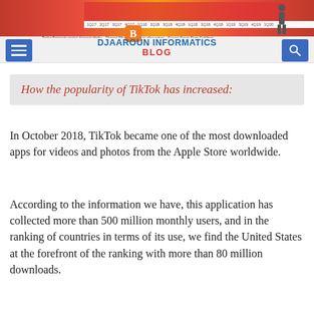DJAAROUN INFORMATICS BLOG
How the popularity of TikTok has increased:
In October 2018, TikTok became one of the most downloaded apps for videos and photos from the Apple Store worldwide.
According to the information we have, this application has collected more than 500 million monthly users, and in the ranking of countries in terms of its use, we find the United States at the forefront of the ranking with more than 80 million downloads.